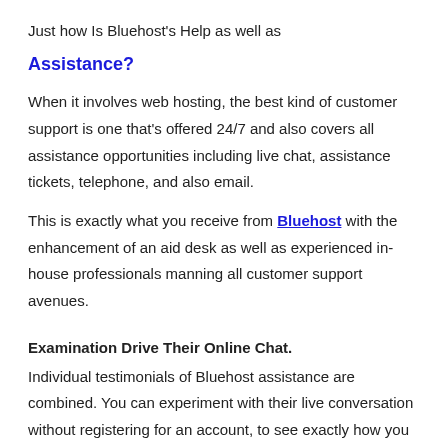Just how Is Bluehost's Help as well as
Assistance?
When it involves web hosting, the best kind of customer support is one that's offered 24/7 and also covers all assistance opportunities including live chat, assistance tickets, telephone, and also email.
This is exactly what you receive from Bluehost with the enhancement of an aid desk as well as experienced in-house professionals manning all customer support avenues.
Examination Drive Their Online Chat.
Individual testimonials of Bluehost assistance are combined. You can experiment with their live conversation without registering for an account, to see exactly how you like the feedback time and also high quality.